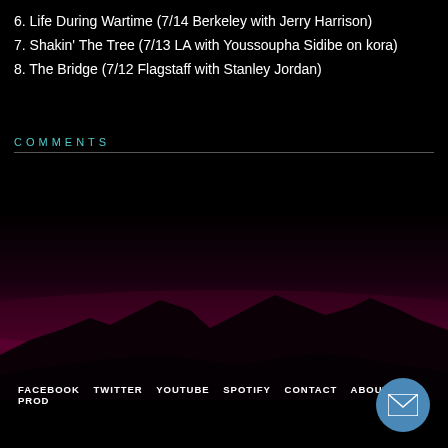6. Life During Wartime (7/14 Berkeley with Jerry Harrison)
7. Shakin' The Tree (7/13 LA with Youssoupha Sidibe on kora)
8. The Bridge (7/12 Flagstaff with Stanley Jordan)
COMMENTS
[Figure (illustration): Dark mountain silhouette landscape against a deep red-purple sky gradient on black background]
FACEBOOK  TWITTER  YOUTUBE  SPOTIFY  CONTACT  ABOUT SCI  PROD